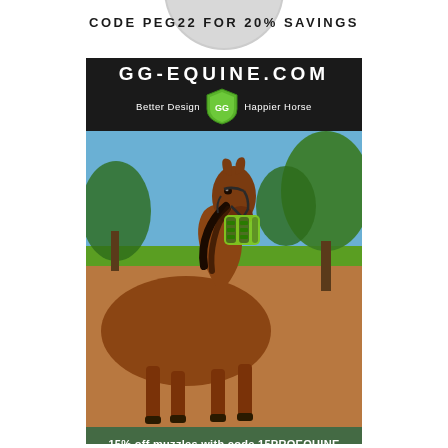CODE PEG22 FOR 20% SAVINGS
[Figure (photo): GG-Equine.com advertisement showing a brown horse wearing a green muzzle outdoors with blue sky and trees in the background. Header reads GG-EQUINE.COM with tagline Better Design Happier Horse and a shield logo. Footer reads 15% off muzzles with code 15PROEQUINE.]